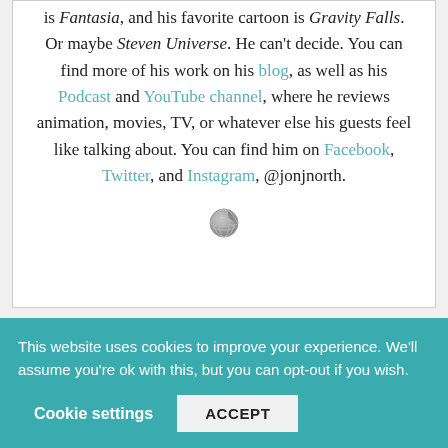is Fantasia, and his favorite cartoon is Gravity Falls. Or maybe Steven Universe. He can't decide. You can find more of his work on his blog, as well as his Podcast and YouTube channel, where he reviews animation, movies, TV, or whatever else his guests feel like talking about. You can find him on Facebook, Twitter, and Instagram, @jonjnorth.
[Figure (illustration): Small globe icon (grayscale)]
This website uses cookies to improve your experience. We'll assume you're ok with this, but you can opt-out if you wish.
Cookie settings  ACCEPT